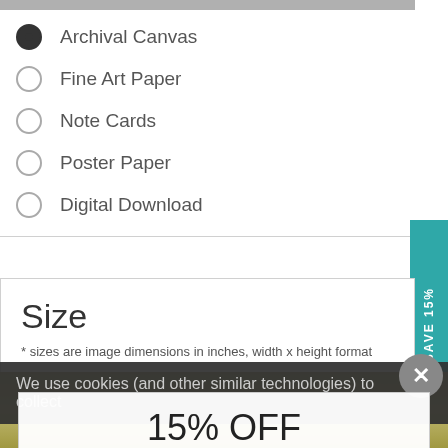Archival Canvas (selected)
Fine Art Paper
Note Cards
Poster Paper
Digital Download
Size
* sizes are image dimensions in inches, width x height format
We use cookies (and other similar technologies) to collect
15% OFF
ACTIVATE DISCOUNT